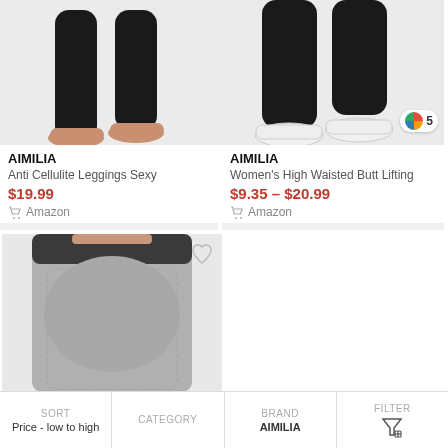[Figure (photo): Product image of black leggings showing bare feet and ankles, top half of card cropped]
AIMILIA
Anti Cellulite Leggings Sexy
$19.99
Amazon
[Figure (photo): Product image of black leggings with white sneakers, color swatch badge showing 5 colors]
AIMILIA
Women's High Waisted Butt Lifting
$9.35 – $20.99
Amazon
[Figure (photo): Product image of grey textured butt-lifting leggings with dark waistband, heart icon overlay]
SORT Price - low to high
CATEGORY
BRAND AIMILIA
FILTER